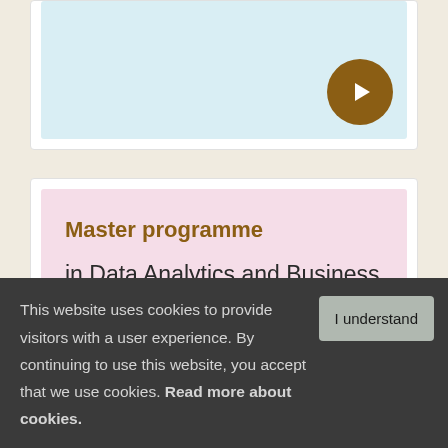[Figure (screenshot): Partially visible card with light blue background and a brown circular arrow button at bottom right]
[Figure (screenshot): Card with pink/rose background containing 'Master programme in Data Analytics and Business Economics' text and a brown circular arrow button at bottom right]
This website uses cookies to provide visitors with a user experience. By continuing to use this website, you accept that we use cookies. Read more about cookies.
I understand